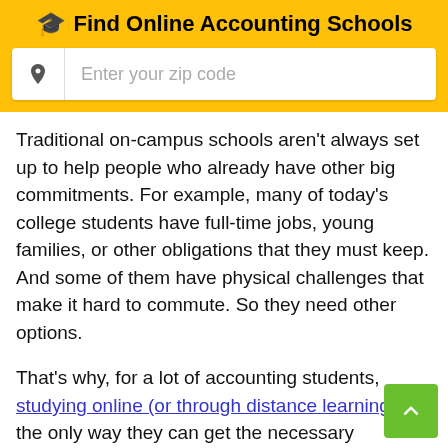🎓 Find Online Accounting Schools
[Figure (other): Search box with pin/location icon and placeholder text 'Enter your zip code']
Traditional on-campus schools aren't always set up to help people who already have other big commitments. For example, many of today's college students have full-time jobs, young families, or other obligations that they must keep. And some of them have physical challenges that make it hard to commute. So they need other options.
That's why, for a lot of accounting students, studying online (or through distance learning) is the only way they can get the necessary education to pursue their goals. It gives them the flexibility to learn from home (or almost anywhere they choose) while controlling their own schedules. That way, they're able to maintain the lives they already have while making genuine strides toward the better futures they want.